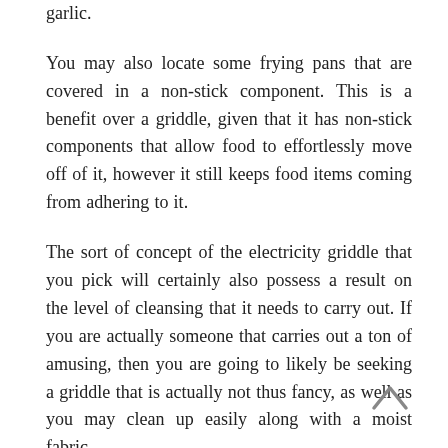search for elements like tomatoes, red onions, and garlic.
You may also locate some frying pans that are covered in a non-stick component. This is a benefit over a griddle, given that it has non-stick components that allow food to effortlessly move off of it, however it still keeps food items coming from adhering to it.
The sort of concept of the electricity griddle that you pick will certainly also possess a result on the level of cleansing that it needs to carry out. If you are actually someone that carries out a ton of amusing, then you are going to likely be seeking a griddle that is actually not thus fancy, as well as you may clean up easily along with a moist fabric.
You will definitely want to think about a gas griddle if you yearn for a simple grill that you can easily put down on the counter. This kind of frying pan is generally made out of